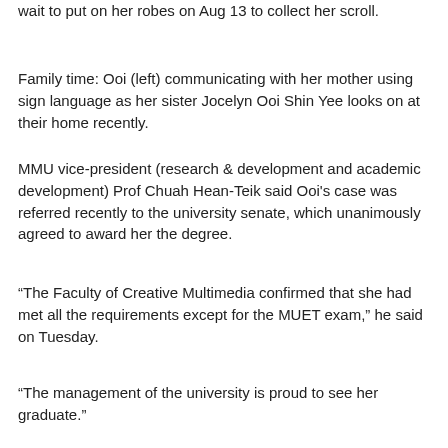wait to put on her robes on Aug 13 to collect her scroll.
Family time: Ooi (left) communicating with her mother using sign language as her sister Jocelyn Ooi Shin Yee looks on at their home recently.
MMU vice-president (research & development and academic development) Prof Chuah Hean-Teik said Ooi's case was referred recently to the university senate, which unanimously agreed to award her the degree.
“The Faculty of Creative Multimedia confirmed that she had met all the requirements except for the MUET exam,” he said on Tuesday.
“The management of the university is proud to see her graduate.”